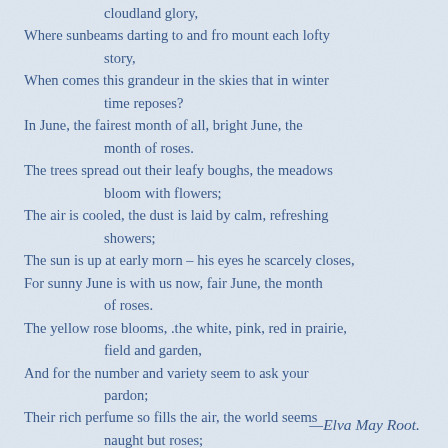cloudland glory,
Where sunbeams darting to and fro mount each lofty story,
When comes this grandeur in the skies that in winter time reposes?
In June, the fairest month of all, bright June, the month of roses.
The trees spread out their leafy boughs, the meadows bloom with flowers;
The air is cooled, the dust is laid by calm, refreshing showers;
The sun is up at early morn – his eyes he scarcely closes,
For sunny June is with us now, fair June, the month of roses.
The yellow rose blooms, .the white, pink, red in prairie, field and garden,
And for the number and variety seem to ask your pardon;
Their rich perfume so fills the air, the world seems naught but roses;
A rosy crown they've made for June, and crowned her Queen of Roses.
—Elva May Root.